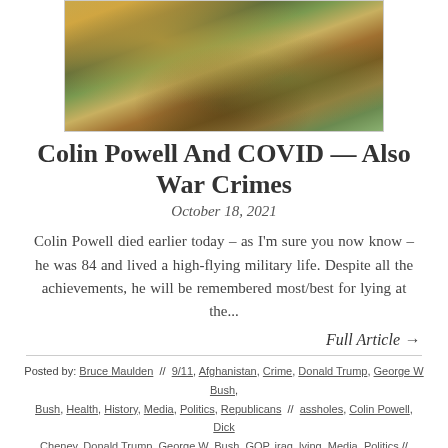[Figure (photo): A surrealist painting (resembling Dali's style) featuring melting or drooping golden/yellow forms against a green and brown landscape background.]
Colin Powell And COVID — Also War Crimes
October 18, 2021
Colin Powell died earlier today – as I'm sure you now know – he was 84 and lived a high-flying military life. Despite all the achievements, he will be remembered most/best for lying at the...
Full Article →
Posted by: Bruce Maulden // 9/11, Afghanistan, Crime, Donald Trump, George W Bush, Health, History, Media, Politics, Republicans // assholes, Colin Powell, Dick Cheney, Donald Trump, George W. Bush, GOP, iraq, lying, Media, Politics // October 18, 2021 // Comment